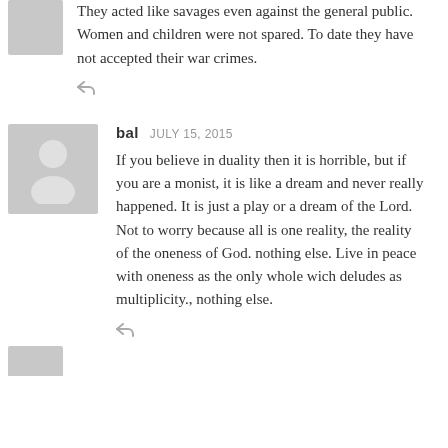They acted like savages even against the general public. Women and children were not spared. To date they have not accepted their war crimes.
bal   JULY 15, 2015
If you believe in duality then it is horrible, but if you are a monist, it is like a dream and never really happened. It is just a play or a dream of the Lord. Not to worry because all is one reality, the reality of the oneness of God. nothing else. Live in peace with oneness as the only whole wich deludes as multiplicity., nothing else.